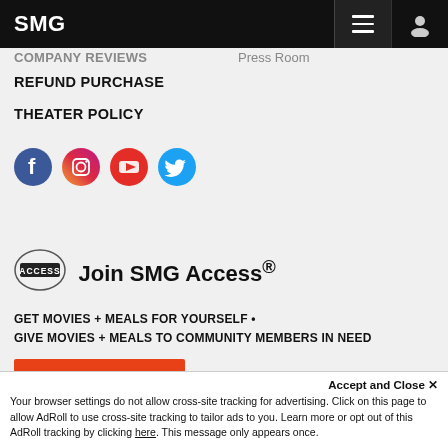SMG
COMPANY REVIEWS
Press Room
REFUND PURCHASE
THEATER POLICY
[Figure (illustration): Four social media icons: Facebook (blue), Instagram (pink/magenta), YouTube (red), Twitter (light blue)]
[Figure (logo): SMG Access oval logo badge with text ACCESS]
Join SMG Access®
GET MOVIES + MEALS FOR YOURSELF  •
GIVE MOVIES + MEALS TO COMMUNITY MEMBERS IN NEED
Learn More
Accept and Close ×
Your browser settings do not allow cross-site tracking for advertising. Click on this page to allow AdRoll to use cross-site tracking to tailor ads to you. Learn more or opt out of this AdRoll tracking by clicking here. This message only appears once.